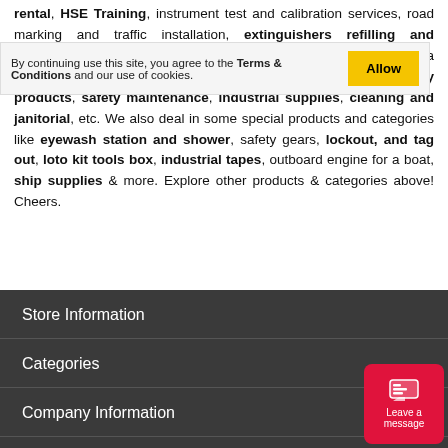rental, HSE Training, instrument test and calibration services, road marking and traffic installation, extinguishers refilling and certifications, cargo net production, etc. Industries Safety Nigeria has a range of categories such as material handling, security products, safety maintenance, industrial supplies, cleaning and janitorial, etc. We also deal in some special products and categories like eyewash station and shower, safety gears, lockout, and tag out, loto kit tools box, industrial tapes, outboard engine for a boat, ship supplies & more. Explore other products & categories above! Cheers.
Store Information
Categories
Company Information